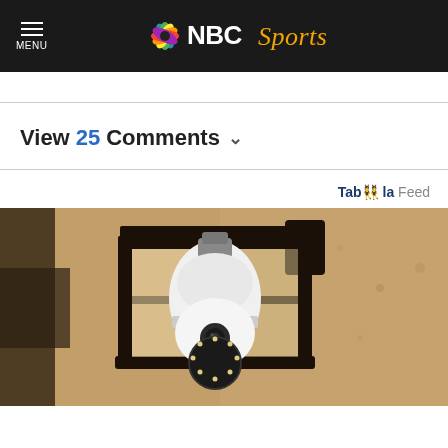MENU | NBC Sports
View 25 Comments
Taboola Feed
[Figure (photo): Outdoor wall lantern with a white smart security camera bulb installed inside a black metal cage fixture, mounted on a textured beige stucco wall. The camera has a round white body with a ring of LED lights at the bottom.]